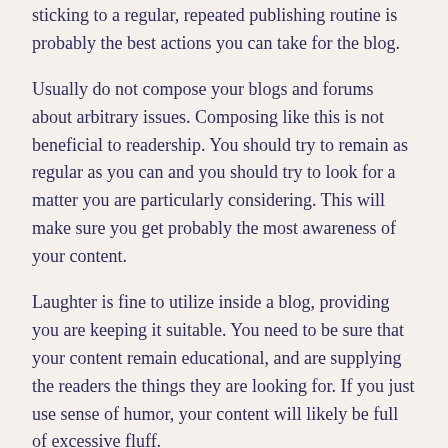sticking to a regular, repeated publishing routine is probably the best actions you can take for the blog.
Usually do not compose your blogs and forums about arbitrary issues. Composing like this is not beneficial to readership. You should try to remain as regular as you can and you should try to look for a matter you are particularly considering. This will make sure you get probably the most awareness of your content.
Laughter is fine to utilize inside a blog, providing you are keeping it suitable. You need to be sure that your content remain educational, and are supplying the readers the things they are looking for. If you just use sense of humor, your content will likely be full of excessive fluff.